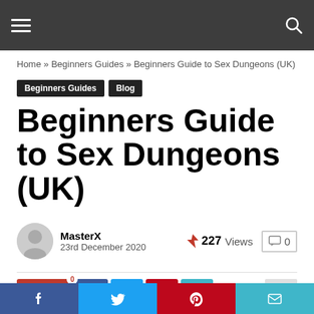Navigation bar with hamburger menu and search icon
Home » Beginners Guides » Beginners Guide to Sex Dungeons (UK)
Beginners Guides  Blog
Beginners Guide to Sex Dungeons (UK)
MasterX  23rd December 2020  227 Views  0
[Figure (other): Social share bar with Save, Facebook, Twitter, Pinterest, Email buttons]
Footer social icons: Facebook, Twitter, Pinterest, Email